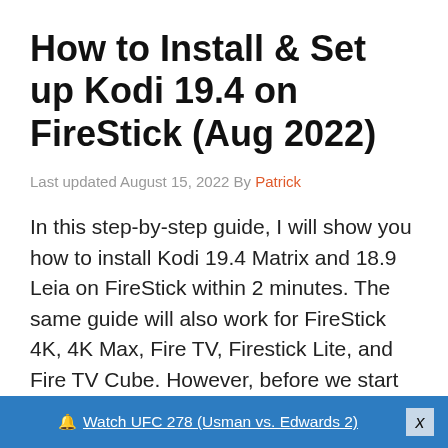How to Install & Set up Kodi 19.4 on FireStick (Aug 2022)
Last updated August 15, 2022 By Patrick
In this step-by-step guide, I will show you how to install Kodi 19.4 Matrix and 18.9 Leia on FireStick within 2 minutes. The same guide will also work for FireStick 4K, 4K Max, Fire TV, Firestick Lite, and Fire TV Cube. However, before we start the installation steps, let's
🔔 Watch UFC 278 (Usman vs. Edwards 2)